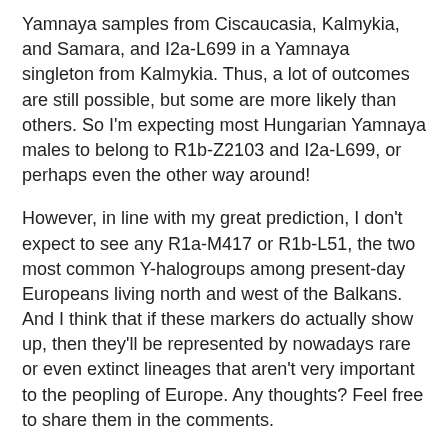Yamnaya samples from Ciscaucasia, Kalmykia, and Samara, and I2a-L699 in a Yamnaya singleton from Kalmykia. Thus, a lot of outcomes are still possible, but some are more likely than others. So I'm expecting most Hungarian Yamnaya males to belong to R1b-Z2103 and I2a-L699, or perhaps even the other way around!
However, in line with my great prediction, I don't expect to see any R1a-M417 or R1b-L51, the two most common Y-halogroups among present-day Europeans living north and west of the Balkans. And I think that if these markers do actually show up, then they'll be represented by nowadays rare or even extinct lineages that aren't very important to the peopling of Europe. Any thoughts? Feel free to share them in the comments.
See also...
Hungarian Yamnaya > Bell Beakers?
Single Grave > Bell Beakers